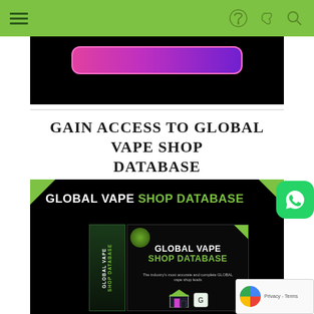Navigation bar with hamburger menu, share icon, and search icon
[Figure (screenshot): Black background image with a pink/purple gradient rounded rectangle bar in the center]
GAIN ACCESS TO GLOBAL VAPE SHOP DATABASE
[Figure (screenshot): Black background promotional image for Global Vape Shop Database product with green corner accents, white and green title text, and a product box mockup showing the database branding with a shop icon, logo, and subtitle text 'The industry's most accurate and complete GLOBAL vape shop leads']